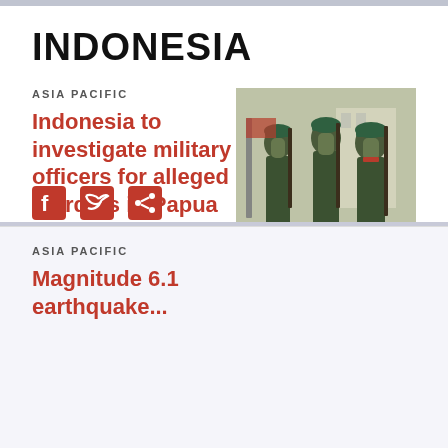INDONESIA
ASIA PACIFIC
Indonesia to investigate military officers for alleged murders in Papua
[Figure (photo): Indonesian military soldiers in camouflage uniforms and green berets standing at attention with rifles]
ASIA PACIFIC
Magnitude 6.1 earthquake…
[Figure (photo): Tropical palm trees in stormy/windy conditions, black and white or desaturated photo]